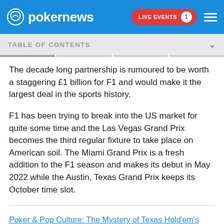pokernews — LIVE EVENTS 1
TABLE OF CONTENTS
The decade long partnership is rumoured to be worth a staggering £1 billion for F1 and would make it the largest deal in the sports history.
F1 has been trying to break into the US market for quite some time and the Las Vegas Grand Prix becomes the third regular fixture to take place on American soil. The Miami Grand Prix is a fresh addition to the F1 season and makes its debut in May 2022 while the Austin, Texas Grand Prix keeps its October time slot.
Poker & Pop Culture: The Mystery of Texas Hold'em's History